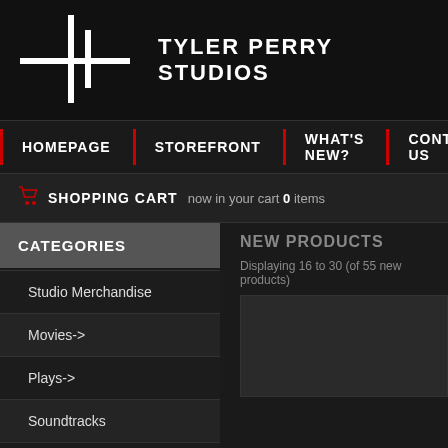[Figure (logo): Tyler Perry Studios logo with cross/plus symbol in white on black background]
TYLER PERRY STUDIOS
HOMEPAGE
STOREFRONT
WHAT'S NEW?
CONTACT US
SHOPPING CART now in your cart 0 items
CATEGORIES
Studio Merchandise
Movies->
Plays->
Soundtracks
Books->
NEW PRODUCTS
Displaying 16 to 30 (of 55 new products)